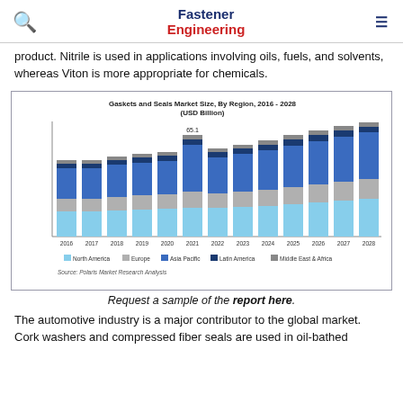Fastener Engineering
product. Nitrile is used in applications involving oils, fuels, and solvents, whereas Viton is more appropriate for chemicals.
[Figure (stacked-bar-chart): Gaskets and Seals Market Size, By Region, 2016 - 2028 (USD Billion)]
Request a sample of the report here.
The automotive industry is a major contributor to the global market. Cork washers and compressed fiber seals are used in oil-bathed